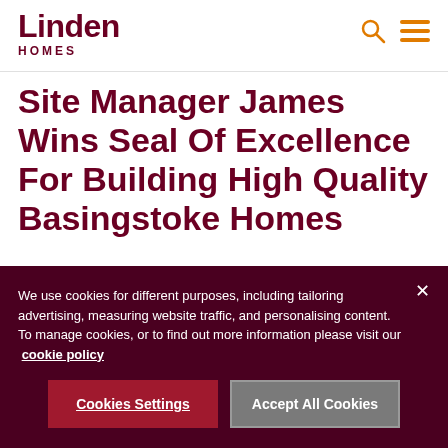Linden HOMES
Site Manager James Wins Seal Of Excellence For Building High Quality Basingstoke Homes
We use cookies for different purposes, including tailoring advertising, measuring website traffic, and personalising content. To manage cookies, or to find out more information please visit our  cookie policy
Cookies Settings  Accept All Cookies